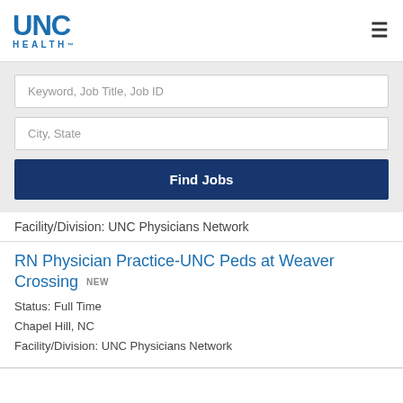[Figure (logo): UNC Health logo with blue text]
Keyword, Job Title, Job ID
City, State
Find Jobs
Facility/Division: UNC Physicians Network
RN Physician Practice-UNC Peds at Weaver Crossing NEW
Status: Full Time
Chapel Hill, NC
Facility/Division: UNC Physicians Network